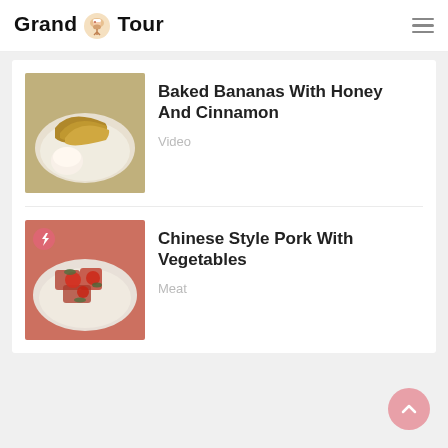[Figure (logo): Grand Tour food blog logo with chef character]
[Figure (photo): Baked bananas with honey and cinnamon on a plate with ice cream]
Baked Bananas With Honey And Cinnamon
Video
[Figure (photo): Chinese style pork with vegetables on a plate]
Chinese Style Pork With Vegetables
Meat